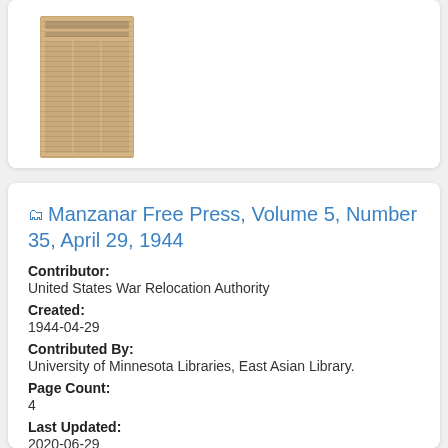[Figure (photo): Thumbnail image of a yellowed newspaper page (Manzanar Free Press), showing columns of text on aged brownish paper.]
Manzanar Free Press, Volume 5, Number 35, April 29, 1944
Contributor:
United States War Relocation Authority
Created:
1944-04-29
Contributed By:
University of Minnesota Libraries, East Asian Library.
Page Count:
4
Last Updated:
2020-06-29